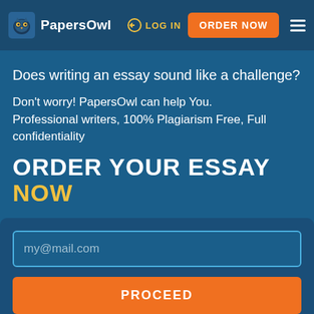PapersOwl | LOG IN | ORDER NOW
Does writing an essay sound like a challenge?
Don't worry! PapersOwl can help You. Professional writers, 100% Plagiarism Free, Full confidentiality
ORDER YOUR ESSAY NOW
my@mail.com
PROCEED
By clicking "Proceed", you agree to our terms of service and privacy policy. We'll occasionally send you promo and